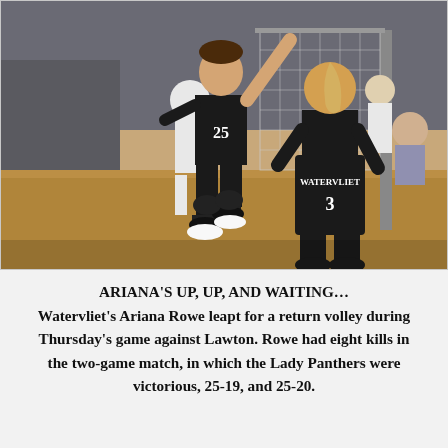[Figure (photo): A volleyball player wearing jersey number 25 for Watervliet leaps into the air with one arm raised during a game. Another player wearing number 3 with WATERVLIET on the back stands in the foreground. Additional players and a volleyball net are visible in the background in a gymnasium.]
ARIANA'S UP, UP, AND WAITING… Watervliet's Ariana Rowe leapt for a return volley during Thursday's game against Lawton. Rowe had eight kills in the two-game match, in which the Lady Panthers were victorious, 25-19, and 25-20.